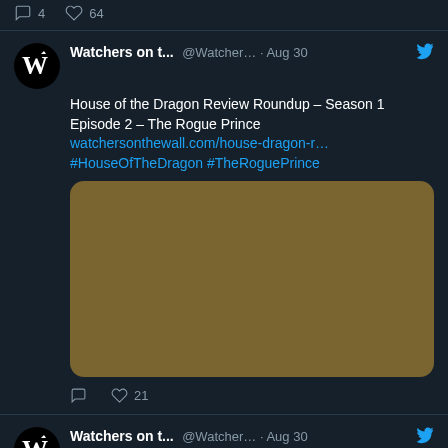4  64
Watchers on t...  @Watcher...  · Aug 30
House of the Dragon Review Roundup – Season 1 Episode 2 – The Rogue Prince watchersonthewall.com/house-dragon-r… #HouseOfTheDragon #TheRoguePrince
[Figure (photo): Embedded tweet image placeholder, golden-brown rectangle]
21
Watchers on t...  @Watcher...  · Aug 30
The Rogue Wince: House of the Dragon Twitter Recap - watchersonthewall.com/twitter-